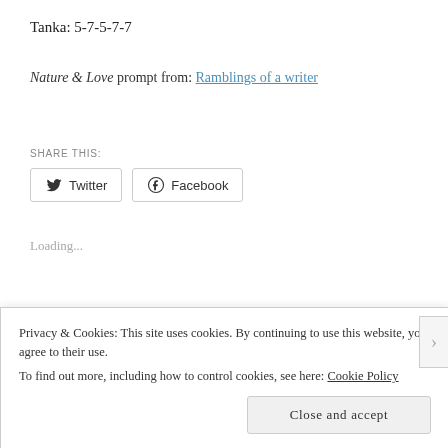Tanka: 5-7-5-7-7
Nature & Love prompt from: Ramblings of a writer
SHARE THIS:
Twitter  Facebook
Loading...
CATEGORIES  TANKA
TAGS  LOVE  NATURE  TANKA  WEEKLY TANKA PROMPT
Privacy & Cookies: This site uses cookies. By continuing to use this website, you agree to their use.
To find out more, including how to control cookies, see here: Cookie Policy
Close and accept